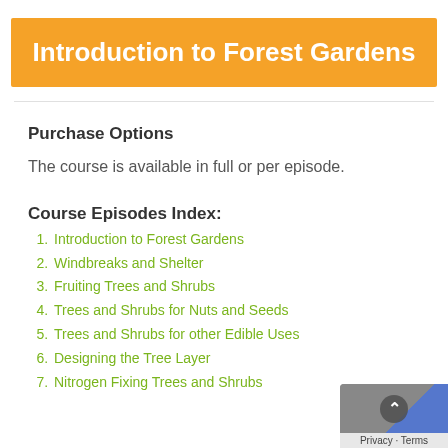Introduction to Forest Gardens
Purchase Options
The course is available in full or per episode.
Course Episodes Index:
Introduction to Forest Gardens
Windbreaks and Shelter
Fruiting Trees and Shrubs
Trees and Shrubs for Nuts and Seeds
Trees and Shrubs for other Edible Uses
Designing the Tree Layer
Nitrogen Fixing Trees and Shrubs